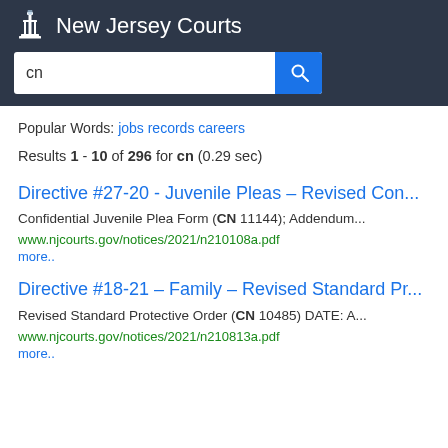New Jersey Courts
[Figure (screenshot): Search bar with 'cn' typed in, blue divider, and blue search button]
Popular Words: jobs records careers
Results 1 - 10 of 296 for cn (0.29 sec)
Directive #27-20 - Juvenile Pleas – Revised Con...
Confidential Juvenile Plea Form (CN 11144); Addendum... www.njcourts.gov/notices/2021/n210108a.pdf more..
Directive #18-21 – Family – Revised Standard Pr...
Revised Standard Protective Order (CN 10485) DATE: A... www.njcourts.gov/notices/2021/n210813a.pdf more..